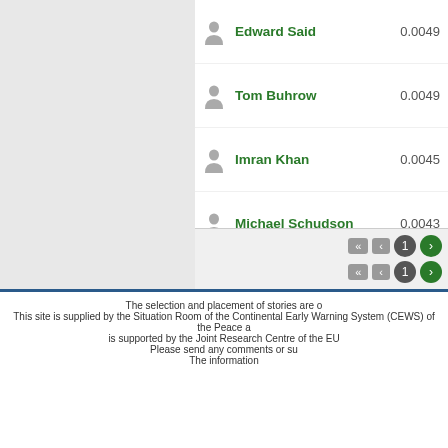Edward Said 0.0049
Tom Buhrow 0.0049
Imran Khan 0.0045
Michael Schudson 0.0043
Jeremy Corbyn 0.0041
Andrew Deeks 0.0041
New York Times 0.004
Dan Baum 0.004
Global Research 0.0039
Pierre Taittinger 0.0038
Al Aksa Mosque 0.0037
The selection and placement of stories are o... This site is supplied by the Situation Room of the Continental Early Warning System (CEWS) of the Peace a... is supported by the Joint Research Centre of the EU... Please send any comments or su... The information...